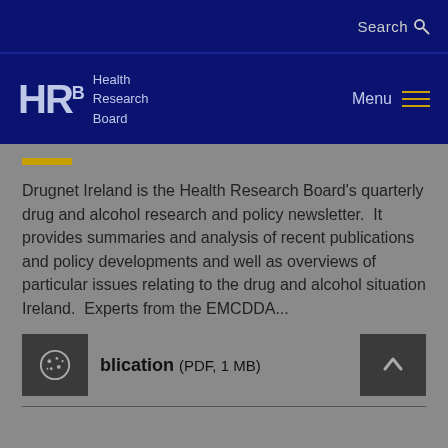Search
[Figure (logo): Health Research Board (HRB) logo with text: Health Research Board]
Drugnet Ireland is the Health Research Board's quarterly drug and alcohol research and policy newsletter.  It provides summaries and analysis of recent publications and policy developments and well as overviews of particular issues relating to the drug and alcohol situation Ireland.  Experts from the EMCDDA...
blication (PDF, 1 MB)